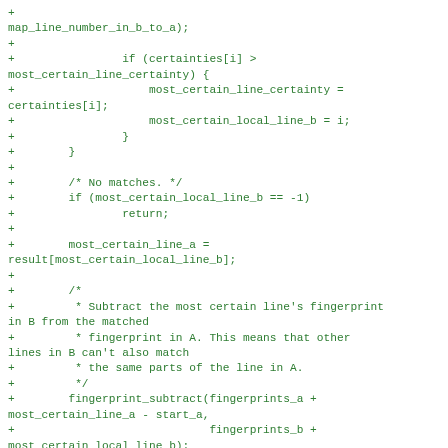Code diff snippet showing C code with added lines (+) for line mapping, certainty checking, and fingerprint subtraction logic.